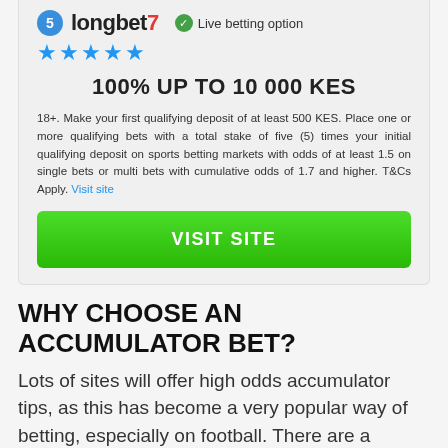[Figure (logo): Longbet7 brand logo with blue badge number 5, brand name in bold, and red slash. Green checkmark with 'Live betting option' text.]
[Figure (other): Five blue star rating icons]
100% UP TO 10 000 KES
18+. Make your first qualifying deposit of at least 500 KES. Place one or more qualifying bets with a total stake of five (5) times your initial qualifying deposit on sports betting markets with odds of at least 1.5 on single bets or multi bets with cumulative odds of 1.7 and higher. T&Cs Apply. Visit site
[Figure (other): Green VISIT SITE button]
WHY CHOOSE AN ACCUMULATOR BET?
Lots of sites will offer high odds accumulator tips, as this has become a very popular way of betting, especially on football. There are a number of reasons for this.